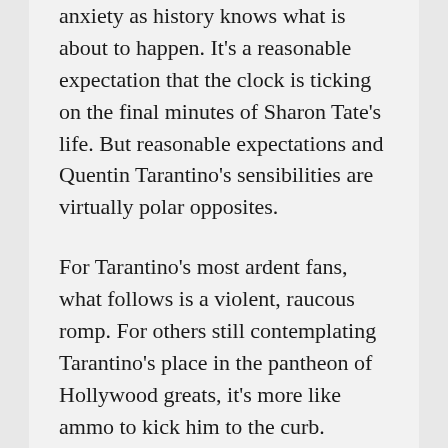anxiety as history knows what is about to happen. It's a reasonable expectation that the clock is ticking on the final minutes of Sharon Tate's life. But reasonable expectations and Quentin Tarantino's sensibilities are virtually polar opposites.
For Tarantino's most ardent fans, what follows is a violent, raucous romp. For others still contemplating Tarantino's place in the pantheon of Hollywood greats, it's more like ammo to kick him to the curb.
The last segment it...